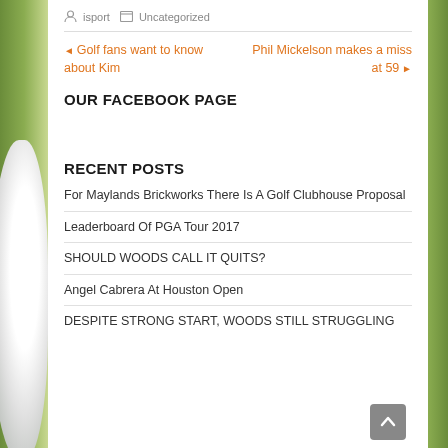isport  Uncategorized
◄ Golf fans want to know about Kim   Phil Mickelson makes a miss at 59 ►
OUR FACEBOOK PAGE
RECENT POSTS
For Maylands Brickworks There Is A Golf Clubhouse Proposal
Leaderboard Of PGA Tour 2017
SHOULD WOODS CALL IT QUITS?
Angel Cabrera At Houston Open
DESPITE STRONG START, WOODS STILL STRUGGLING